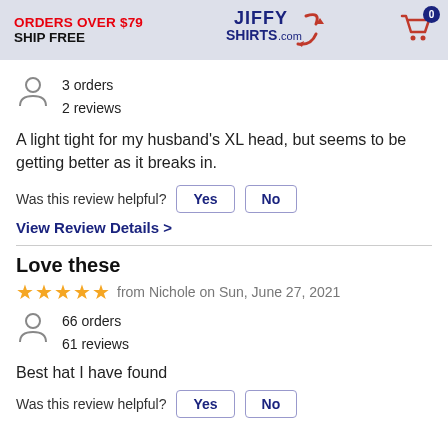ORDERS OVER $79 SHIP FREE | JiffyShirts.com | Cart 0
3 orders
2 reviews
A light tight for my husband's XL head, but seems to be getting better as it breaks in.
Was this review helpful? Yes No
View Review Details >
Love these
★★★★★ from Nichole on Sun, June 27, 2021
66 orders
61 reviews
Best hat I have found
Was this review helpful? Yes No